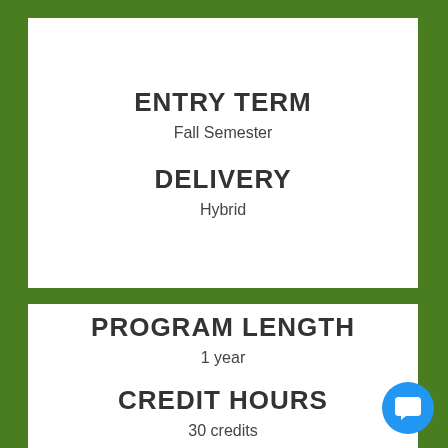ENTRY TERM
Fall Semester
DELIVERY
Hybrid
PROGRAM LENGTH
1 year
CREDIT HOURS
30 credits